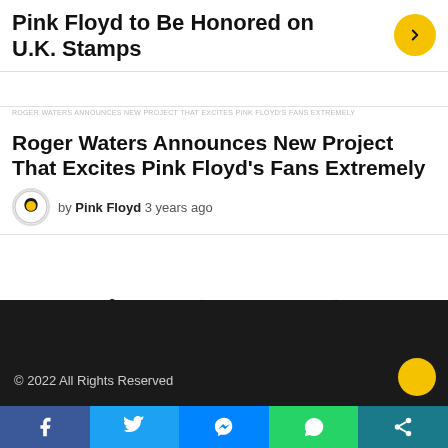Pink Floyd to Be Honored on U.K. Stamps
Roger Waters Announces New Project That Excites Pink Floyd's Fans Extremely
by Pink Floyd 3 years ago
© 2022 All Rights Reserved